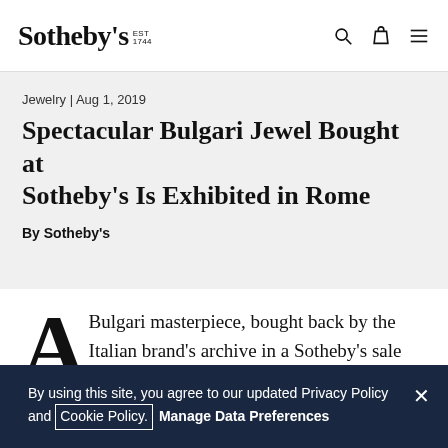Sotheby's EST 1744
Jewelry | Aug 1, 2019
Spectacular Bulgari Jewel Bought at Sotheby's Is Exhibited in Rome
By Sotheby's
A Bulgari masterpiece, bought back by the Italian brand's archive in a Sotheby's sale last year, is currently featuring in a stunning exhibition in Rome that celebrates
By using this site, you agree to our updated Privacy Policy and Cookie Policy. Manage Data Preferences